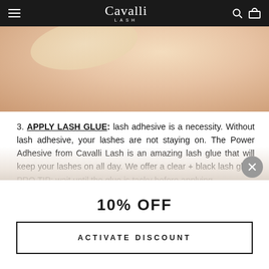Cavalli Lash
[Figure (photo): Close-up photo of a person's face with blonde hair, skin tones in warm peach and tan hues, cropped at the top of the page]
3. APPLY LASH GLUE: lash adhesive is a necessity. Without lash adhesive, your lashes are not staying on. The Power Adhesive from Cavalli Lash is an amazing lash glue that will keep your lashes on all day. We offer a clear + black lash glue. PRO TIP: wait until the glue is tacky before applying.
10% OFF
ACTIVATE DISCOUNT